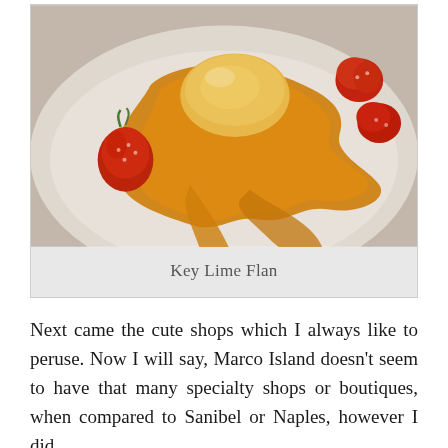[Figure (photo): Close-up photo of a Key Lime Flan dessert on a white plate, with golden caramel sauce drizzled around it and fresh strawberries as garnish.]
Key Lime Flan
Next came the cute shops which I always like to peruse. Now I will say, Marco Island doesn't seem to have that many specialty shops or boutiques, when compared to Sanibel or Naples, however I did